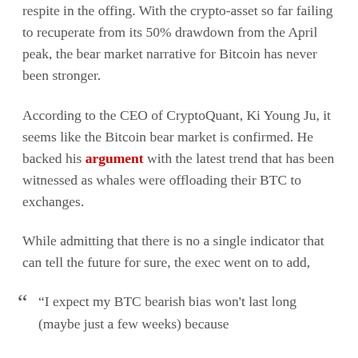respite in the offing. With the crypto-asset so far failing to recuperate from its 50% drawdown from the April peak, the bear market narrative for Bitcoin has never been stronger.
According to the CEO of CryptoQuant, Ki Young Ju, it seems like the Bitcoin bear market is confirmed. He backed his argument with the latest trend that has been witnessed as whales were offloading their BTC to exchanges.
While admitting that there is no a single indicator that can tell the future for sure, the exec went on to add,
“I expect my BTC bearish bias won’t last long (maybe just a few weeks) because